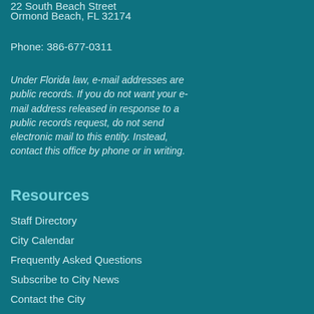22 South Beach Street
Ormond Beach, FL 32174
Phone: 386-677-0311
Under Florida law, e-mail addresses are public records. If you do not want your e-mail address released in response to a public records request, do not send electronic mail to this entity. Instead, contact this office by phone or in writing.
Resources
Staff Directory
City Calendar
Frequently Asked Questions
Subscribe to City News
Contact the City